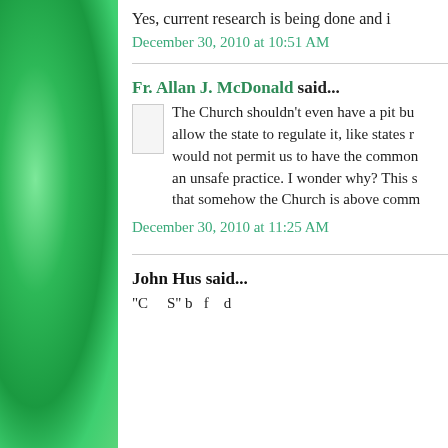Yes, current research is being done and i
December 30, 2010 at 10:51 AM
Fr. Allan J. McDonald said...
The Church shouldn't even have a pit bu allow the state to regulate it, like states r would not permit us to have the common an unsafe practice. I wonder why? This s that somehow the Church is above comm
December 30, 2010 at 11:25 AM
John Hus said...
"C S" b f d